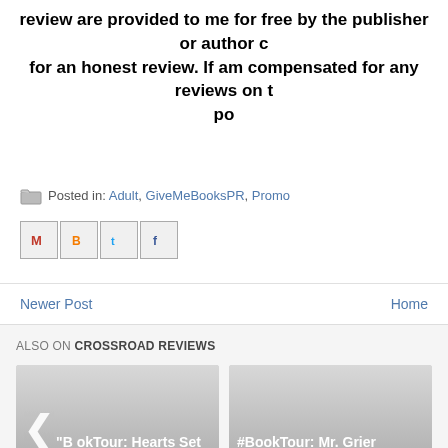review are provided to me for free by the publisher or author for an honest review. If am compensated for any reviews on this po
Posted in: Adult, GiveMeBooksPR, Promo
[Figure (screenshot): Social share buttons: Gmail, Blogger, Twitter, Facebook]
Newer Post | Home
ALSO ON CROSSROAD REVIEWS
[Figure (screenshot): Card: #BookTour: Hearts Set by Jess ... — 10 months ago • 3 comments]
[Figure (screenshot): Card: #BookTour: Mr. Grier and The Governess ... — 13 days ago • 1 comment]